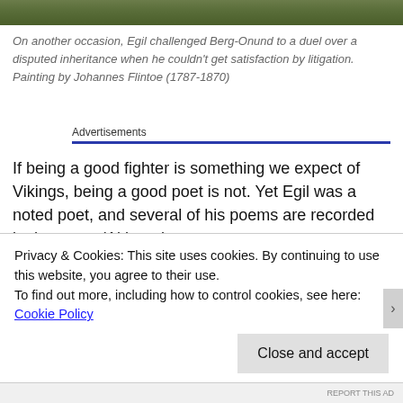[Figure (photo): Partial top edge of a painting showing a natural outdoor scene with green foliage]
On another occasion, Egil challenged Berg-Onund to a duel over a disputed inheritance when he couldn't get satisfaction by litigation. Painting by Johannes Flintoe (1787-1870)
Advertisements
If being a good fighter is something we expect of Vikings, being a good poet is not. Yet Egil was a noted poet, and several of his poems are recorded in the saga. (Although
Privacy & Cookies: This site uses cookies. By continuing to use this website, you agree to their use.
To find out more, including how to control cookies, see here: Cookie Policy
Close and accept